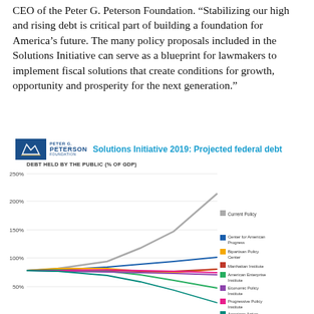CEO of the Peter G. Peterson Foundation. “Stabilizing our high and rising debt is critical part of building a foundation for America’s future. The many policy proposals included in the Solutions Initiative can serve as a blueprint for lawmakers to implement fiscal solutions that create conditions for growth, opportunity and prosperity for the next generation.”
[Figure (line-chart): Solutions Initiative 2019: Projected federal debt]